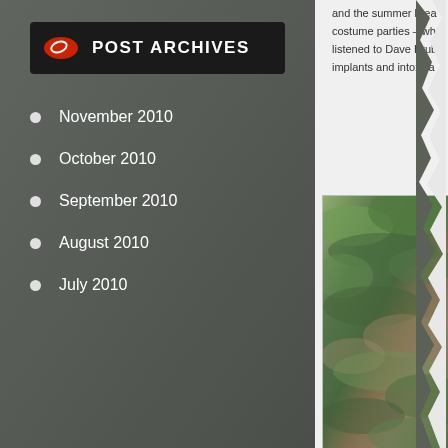POST ARCHIVES
November 2010
October 2010
September 2010
August 2010
July 2010
and the summer brea costume parties – wh listened to Dave Brub implants and intoxica
[Figure (photo): Dense tropical foliage with ferns and green plants, vintage photo style with muted colors]